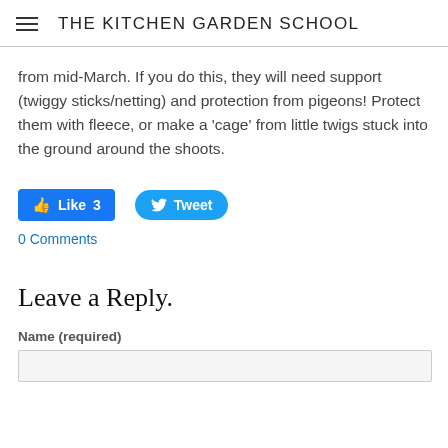THE KITCHEN GARDEN SCHOOL
from mid-March. If you do this, they will need support (twiggy sticks/netting) and protection from pigeons! Protect them with fleece, or make a 'cage' from little twigs stuck into the ground around the shoots.
[Figure (other): Facebook Like button with count 3 and Twitter Tweet button]
0 Comments
Leave a Reply.
Name (required)